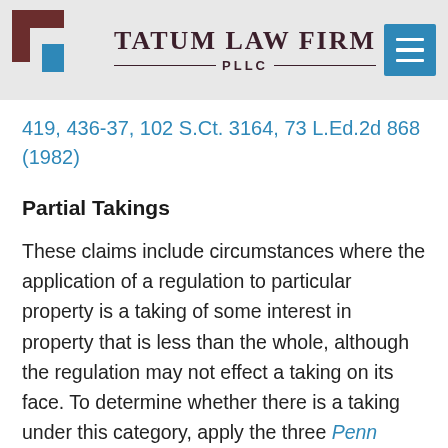Tatum Law Firm PLLC
419, 436-37, 102 S.Ct. 3164, 73 L.Ed.2d 868 (1982)
Partial Takings
These claims include circumstances where the application of a regulation to particular property is a taking of some interest in property that is less than the whole, although the regulation may not effect a taking on its face. To determine whether there is a taking under this category, apply the three Penn Central Transportation Co. v. City of New York, 438